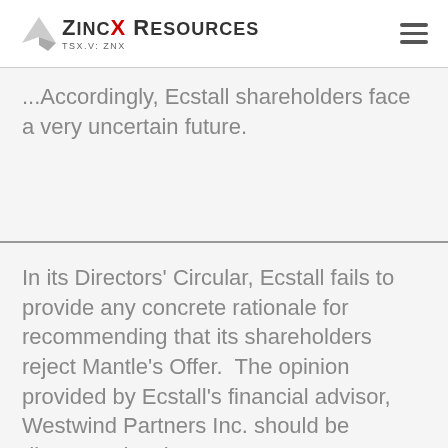ZincX Resources TSX.V: ZNX
... Accordingly, Ecstall shareholders face a very uncertain future.
In its Directors' Circular, Ecstall fails to provide any concrete rationale for recommending that its shareholders reject Mantle's Offer.  The opinion provided by Ecstall's financial advisor, Westwind Partners Inc. should be discounted as it presents no cogent discussion or financial analysis to support its conclusion